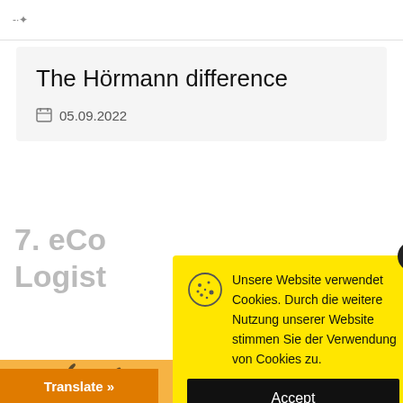The Hörmann difference
05.09.2022
7. eCo... Logist...
[Figure (illustration): Decorative background with birds/leaves and orange gradient]
Unsere Website verwendet Cookies. Durch die weitere Nutzung unserer Website stimmen Sie der Verwendung von Cookies zu.
Accept
Translate »